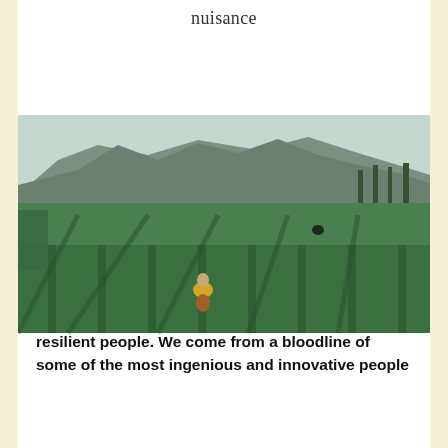nuisance
[Figure (photo): Aerial view of green tea or crop plantation rows with a person in a yellow shirt working in the field; mountains visible in the background under overcast sky.]
EMMANUEL PENI
| Presentation at the Lowy Institute
SYDNEY - Papua New Guineans are proud and resilient people. We come from a bloodline of some of the most ingenious and innovative people